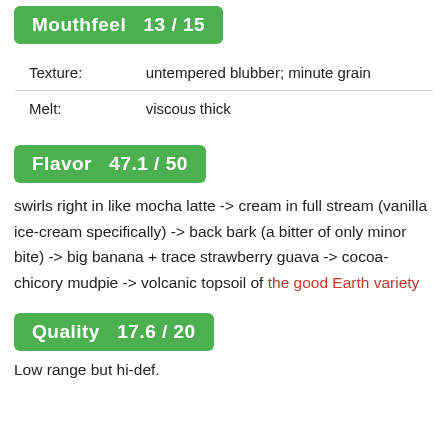Mouthfeel 13 / 15
| Texture: | untempered blubber; minute grain |
| Melt: | viscous thick |
Flavor 47.1 / 50
swirls right in like mocha latte -> cream in full stream (vanilla ice-cream specifically) -> back bark (a bitter of only minor bite) -> big banana + trace strawberry guava -> cocoa-chicory mudpie -> volcanic topsoil of the good Earth variety
Quality 17.6 / 20
Low range but hi-def.